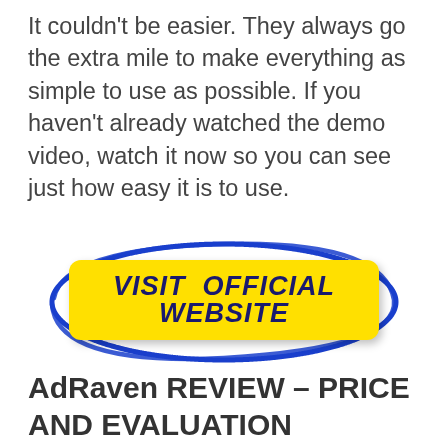It couldn't be easier. They always go the extra mile to make everything as simple to use as possible. If you haven't already watched the demo video, watch it now so you can see just how easy it is to use.
[Figure (other): A yellow rectangular button with rounded corners labeled 'VISIT OFFICIAL WEBSITE' in bold dark blue italic text, surrounded by a hand-drawn style blue oval ring.]
AdRaven REVIEW – PRICE AND EVALUATION